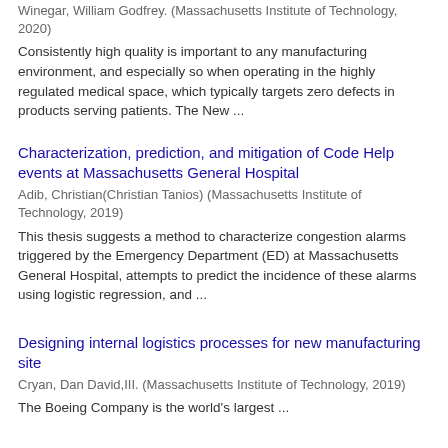Winegar, William Godfrey. (Massachusetts Institute of Technology, 2020)
Consistently high quality is important to any manufacturing environment, and especially so when operating in the highly regulated medical space, which typically targets zero defects in products serving patients. The New ...
Characterization, prediction, and mitigation of Code Help events at Massachusetts General Hospital
Adib, Christian(Christian Tanios) (Massachusetts Institute of Technology, 2019)
This thesis suggests a method to characterize congestion alarms triggered by the Emergency Department (ED) at Massachusetts General Hospital, attempts to predict the incidence of these alarms using logistic regression, and ...
Designing internal logistics processes for new manufacturing site
Cryan, Dan David,III. (Massachusetts Institute of Technology, 2019)
The Boeing Company is the world's largest ...